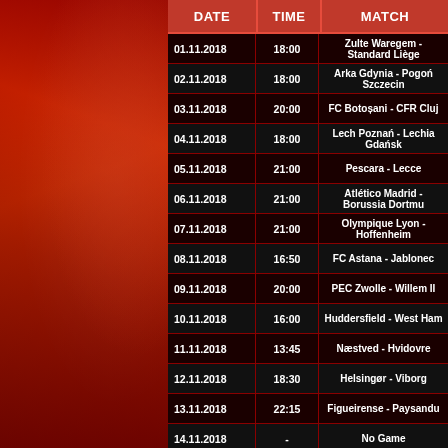[Figure (photo): Sports athlete background image in red tones on the left side]
| DATE | TIME | MATCH |
| --- | --- | --- |
| 01.11.2018 | 18:00 | Zulte Waregem - Standard Liège |
| 02.11.2018 | 18:00 | Arka Gdynia - Pogoń Szczecin |
| 03.11.2018 | 20:00 | FC Botoșani - CFR Cluj |
| 04.11.2018 | 18:00 | Lech Poznań - Lechia Gdańsk |
| 05.11.2018 | 21:00 | Pescara - Lecce |
| 06.11.2018 | 21:00 | Atlético Madrid - Borussia Dortmund |
| 07.11.2018 | 21:00 | Olympique Lyon - Hoffenheim |
| 08.11.2018 | 16:50 | FC Astana - Jablonec |
| 09.11.2018 | 20:00 | PEC Zwolle - Willem II |
| 10.11.2018 | 16:00 | Huddersfield - West Ham |
| 11.11.2018 | 13:45 | Næstved - Hvidovre |
| 12.11.2018 | 18:30 | Helsingør - Viborg |
| 13.11.2018 | 22:15 | Figueirense - Paysandu |
| 14.11.2018 | - | No Game |